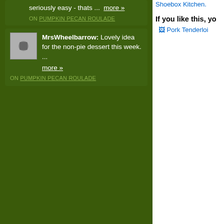seriously easy - thats ...  more »
ON PUMPKIN PECAN ROULADE
MrsWheelbarrow: Lovely idea for the non-pie dessert this week. ... more »
ON PUMPKIN PECAN ROULADE
Shoebox Kitchen.
If you like this, yo
Pork Tenderloi
[Figure (photo): Photo of sliced pork tenderloin on a bed of greens with rosemary garnish]